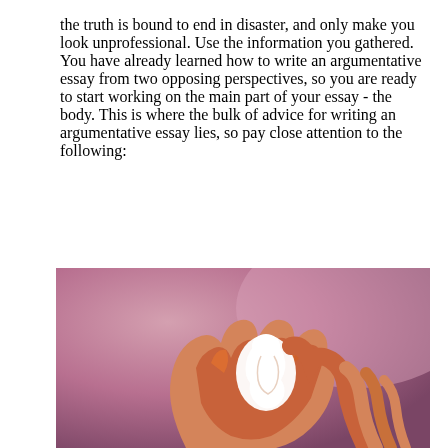the truth is bound to end in disaster, and only make you look unprofessional. Use the information you gathered. You have already learned how to write an argumentative essay from two opposing perspectives, so you are ready to start working on the main part of your essay - the body. This is where the bulk of advice for writing an argumentative essay lies, so pay close attention to the following:
[Figure (photo): Hands holding a white paper cutout of a fetus/unborn baby shape, with orange/red paint or ink on the hands, against a pink-purple gradient background.]